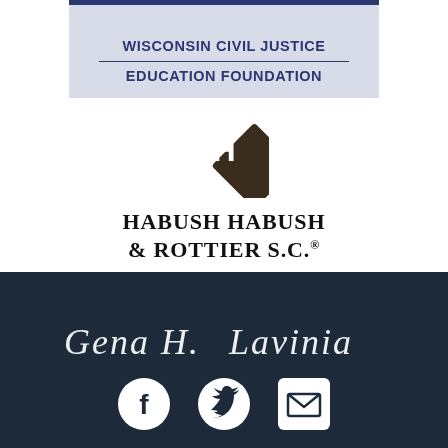[Figure (logo): Wisconsin Civil Justice Education Foundation banner logo with blue top border and gray background]
[Figure (logo): Habush Habush & Rottier S.C. law firm logo with diamond H symbol and firm name in serif font]
[Figure (illustration): Cursive signature text on dark navy background]
[Figure (infographic): Social media icons row: Facebook circle, Twitter circle, and Email envelope square, all in white on dark navy background]